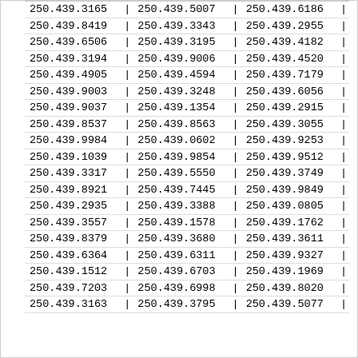| 250.439.3165 | | | 250.439.5007 | | | 250.439.6186 | | |
| 250.439.8419 | | | 250.439.3343 | | | 250.439.2955 | | |
| 250.439.6506 | | | 250.439.3195 | | | 250.439.4182 | | |
| 250.439.3194 | | | 250.439.9006 | | | 250.439.4520 | | |
| 250.439.4905 | | | 250.439.4594 | | | 250.439.7179 | | |
| 250.439.9003 | | | 250.439.3248 | | | 250.439.6056 | | |
| 250.439.9037 | | | 250.439.1354 | | | 250.439.2915 | | |
| 250.439.8537 | | | 250.439.8563 | | | 250.439.3055 | | |
| 250.439.9984 | | | 250.439.0602 | | | 250.439.9253 | | |
| 250.439.1039 | | | 250.439.9854 | | | 250.439.9512 | | |
| 250.439.3317 | | | 250.439.5550 | | | 250.439.3749 | | |
| 250.439.8921 | | | 250.439.7445 | | | 250.439.9849 | | |
| 250.439.2935 | | | 250.439.3388 | | | 250.439.0805 | | |
| 250.439.3557 | | | 250.439.1578 | | | 250.439.1762 | | |
| 250.439.8379 | | | 250.439.3680 | | | 250.439.3611 | | |
| 250.439.6364 | | | 250.439.6311 | | | 250.439.9327 | | |
| 250.439.1512 | | | 250.439.6703 | | | 250.439.1969 | | |
| 250.439.7203 | | | 250.439.6998 | | | 250.439.8020 | | |
| 250.439.3163 | | | 250.439.3795 | | | 250.439.5077 | | |